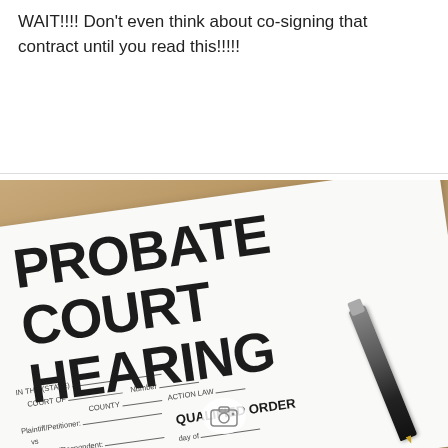WAIT!!!! Don't even think about co-signing that contract until you read this!!!!!
[Figure (photo): A photograph of a Probate Court Hearing legal document form on a wooden table, with a pen resting on it. The document shows large bold text reading 'PROBATE COURT HEARING' and form fields including IN THE (STATE), COURT OF, COUNTY, ACTION LAW, Number, Plaintiff/Petitioner, vs, Defendant/Respondent, and QUALIFIED ORDER with 'day of' field. A camera icon watermark is visible at the bottom center.]